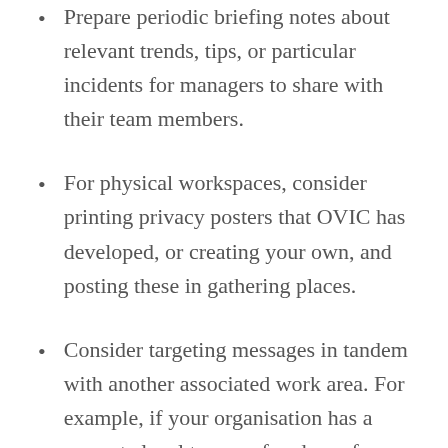Prepare periodic briefing notes about relevant trends, tips, or particular incidents for managers to share with their team members.
For physical workspaces, consider printing privacy posters that OVIC has developed, or creating your own, and posting these in gathering places.
Consider targeting messages in tandem with another associated work area. For example, if your organisation has a separate legal team or freedom of information officer, you could consider whether you can jointly promote your services and clarify your